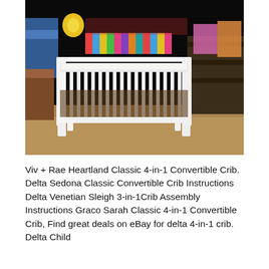[Figure (photo): A white baby crib with vertical slats and a white mattress, displayed in what appears to be a store or room with colorful toys and items visible in the background on shelves. The background is mostly dark/black. The floor appears to be a light tan/cork material.]
Viv + Rae Heartland Classic 4-in-1 Convertible Crib. Delta Sedona Classic Convertible Crib Instructions Delta Venetian Sleigh 3-in-1Crib Assembly Instructions Graco Sarah Classic 4-in-1 Convertible Crib, Find great deals on eBay for delta 4-in-1 crib. Delta Child...